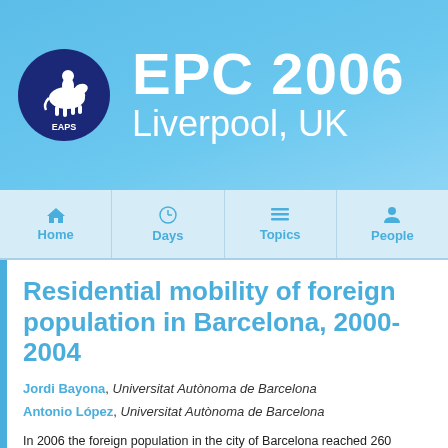EPC 2006 Liverpool, UK
[Figure (logo): EAPS logo: dark navy circle with white illustration of a person riding a horse, text EAPS around the bottom]
Home | Days | Topics | People (navigation bar)
Residential mobility of foreign population in Barcelona, 2000-2004
Jordi Bayona, Universitat Autònoma de Barcelona
Antonio López, Universitat Autònoma de Barcelona
In 2006 the foreign population in the city of Barcelona reached 260 thousand residents, approximately 15% of whole population, as a result of the increment and acceleration of international migratory flows during the last years. One decade ago, only 30.000 foreign inhabitants were living in Barcelona, hardly 2% of the whole population. In this context,